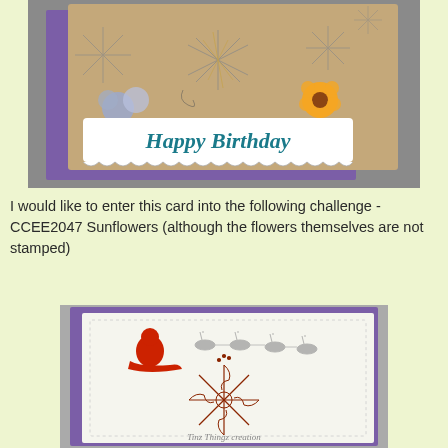[Figure (photo): A handmade birthday card on kraft cardstock with star/snowflake embossing, colorful flowers (blue and orange), and a scalloped white banner reading 'Happy Birthday' in teal/blue lettering, placed on a purple envelope on a gray surface.]
I would like to enter this card into the following challenge - CCEE2047 Sunflowers (although the flowers themselves are not stamped)
[Figure (photo): A white Christmas card on a purple background featuring a red Santa in a sleigh with reindeer silhouettes, and a large decorative star/snowflake stamp in red-brown with swirls. Text at bottom reads 'Tinz Things creation'.]